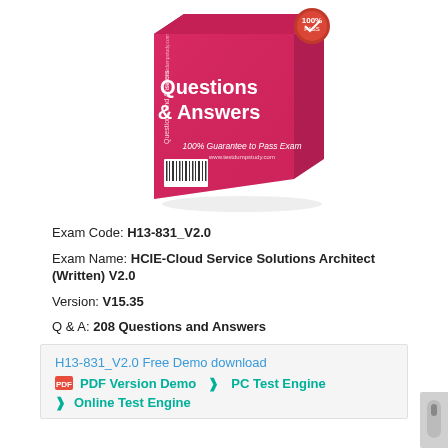[Figure (illustration): 3D product box with pink/red gradient color showing 'Questions & Answers' text and '100% Guarantee to Pass Exam' tagline with www.testdumpstudy.com branding and barcode]
Exam Code: H13-831_V2.0
Exam Name: HCIE-Cloud Service Solutions Architect (Written) V2.0
Version: V15.35
Q & A: 208 Questions and Answers
H13-831_V2.0 Free Demo download
PDF Version Demo  PC Test Engine
Online Test Engine